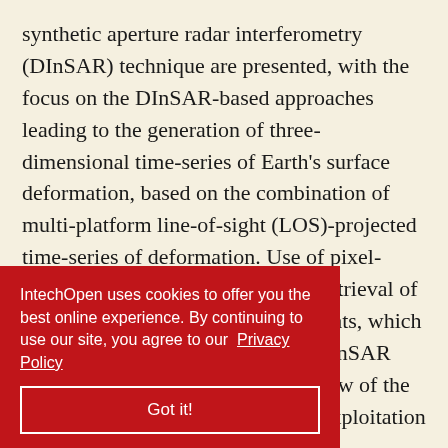synthetic aperture radar interferometry (DInSAR) technique are presented, with the focus on the DInSAR-based approaches leading to the generation of three-dimensional time-series of Earth's surface deformation, based on the combination of multi-platform line-of-sight (LOS)-projected time-series of deformation. Use of pixel-offset (PO) measurements for the retrieval of North-South deformation components, which are difficult to be extracted from DInSAR data, only, is also discussed. A review of the principal techniques based on the exploitation of amplitude and phase signatures of [ided, by of each single ntrated on the bination ion InSAR combination (MinA) approach. The algorithm assumes
IntechOpen uses cookies to offer you the best online experience. By continuing to use our site, you agree to our Privacy Policy
Got it!